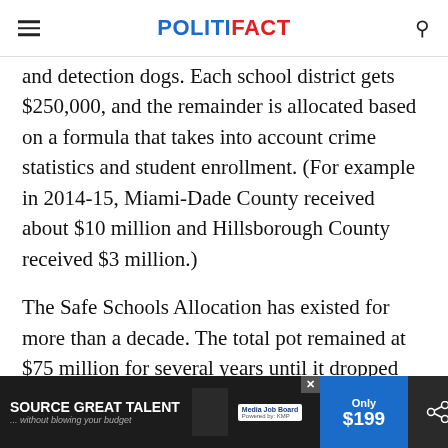POLITIFACT
and detection dogs. Each school district gets $250,000, and the remainder is allocated based on a formula that takes into account crime statistics and student enrollment. (For example in 2014-15, Miami-Dade County received about $10 million and Hillsborough County received $3 million.)
The Safe Schools Allocation has existed for more than a decade. The total pot remained at $75 million for several years until it dropped during the economic downturn, which at under... st. In
[Figure (screenshot): Advertisement banner: 'SOURCE GREAT TALENT ... without blowing your budget' with Media Job Board logo and 'Only $199' pricing, dark background with close and share buttons]